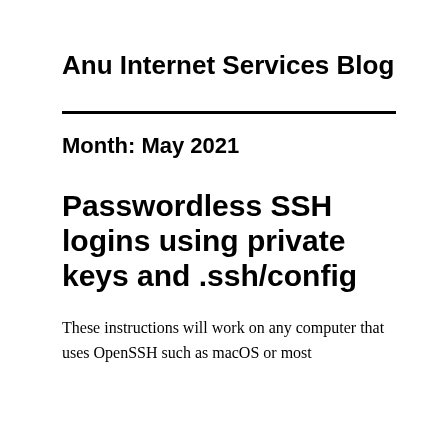Anu Internet Services Blog
Month: May 2021
Passwordless SSH logins using private keys and .ssh/config
These instructions will work on any computer that uses OpenSSH such as macOS or most